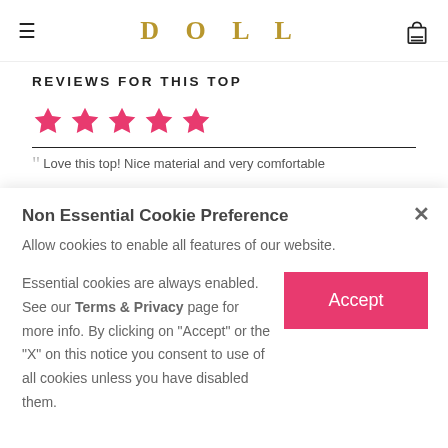DOLL
REVIEWS FOR THIS TOP
[Figure (other): Five pink/red star rating icons in a row]
Love this top! Nice material and very comfortable
Non Essential Cookie Preference
Allow cookies to enable all features of our website.
Essential cookies are always enabled. See our Terms & Privacy page for more info. By clicking on "Accept" or the "X" on this notice you consent to use of all cookies unless you have disabled them.